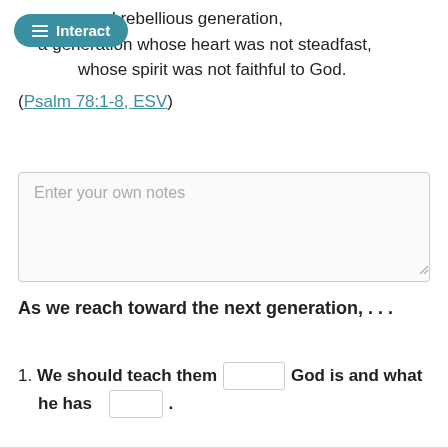and that they should not be like their fathers, a stubborn and rebellious generation, a generation whose heart was not steadfast, whose spirit was not faithful to God. (Psalm 78:1-8, ESV)
Enter your own notes
As we reach toward the next generation, . . .
1. We should teach them [blank] God is and what he has [blank].